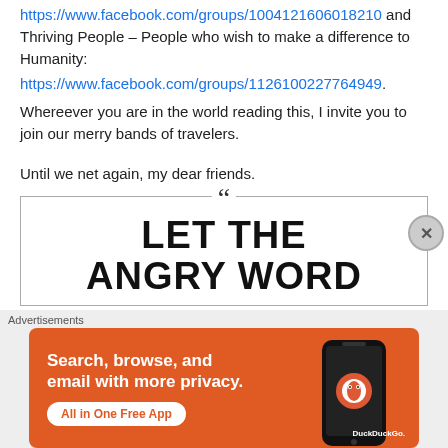https://www.facebook.com/groups/1004121606018210 and Thriving People – People who wish to make a difference to Humanity:
https://www.facebook.com/groups/1126100227764949.
Whereever you are in the world reading this, I invite you to join our merry bands of travelers.
Until we net again, my dear friends.
[Figure (other): Blockquote box with opening quotation mark and large bold text reading 'LET THE ANGRY WORD' (partially visible)]
[Figure (other): DuckDuckGo advertisement banner: 'Search, browse, and email with more privacy. All in One Free App' with phone graphic and DuckDuckGo logo on orange background]